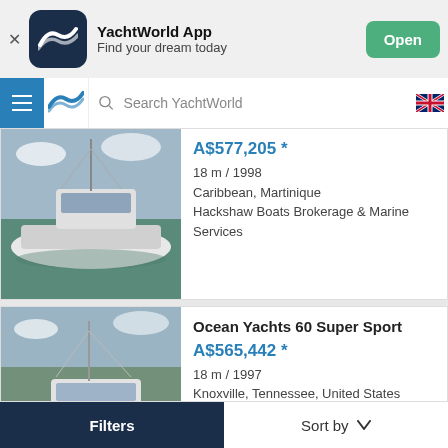[Figure (screenshot): YachtWorld App banner with logo, title 'YachtWorld App', subtitle 'Find your dream today', and green 'Open' button]
[Figure (screenshot): Navigation bar with hamburger menu, YachtWorld logo, search bar 'Search YachtWorld', and Australian flag icon]
[Figure (photo): Photo of a white sport fishing yacht docked at a marina]
A$577,205 *
18 m / 1998
Caribbean, Martinique
Hackshaw Boats Brokerage & Marine Services
[Figure (photo): Photo of Ocean Yachts 60 Super Sport, a white sport fishing yacht]
Ocean Yachts 60 Super Sport
A$565,442 *
18 m / 1997
Knoxville, Tennessee, United States
Yachts360
Filters    Sort by